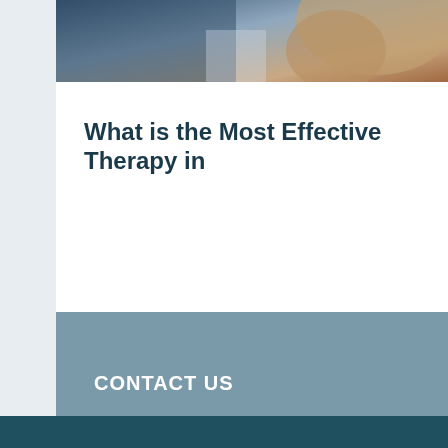[Figure (photo): Partial photo of a person, likely in a medical or physical therapy context, showing an arm or upper body against a dark background.]
What is the Most Effective Therapy in
CONTACT US